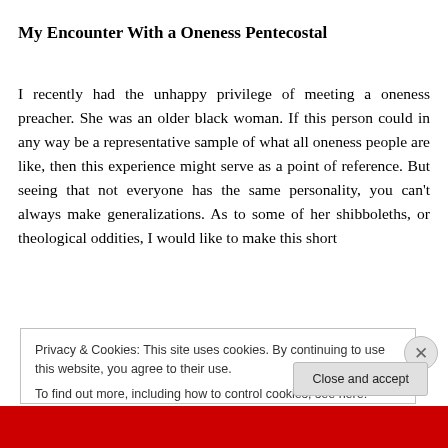My Encounter With a Oneness Pentecostal
I recently had the unhappy privilege of meeting a oneness preacher. She was an older black woman. If this person could in any way be a representative sample of what all oneness people are like, then this experience might serve as a point of reference. But seeing that not everyone has the same personality, you can't always make generalizations. As to some of her shibboleths, or theological oddities, I would like to make this short
Privacy & Cookies: This site uses cookies. By continuing to use this website, you agree to their use.
To find out more, including how to control cookies, see here: Cookie Policy
Close and accept